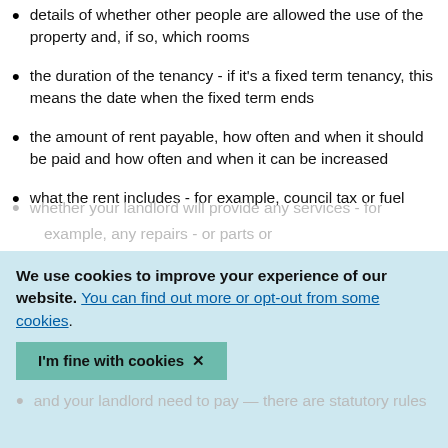details of whether other people are allowed the use of the property and, if so, which rooms
the duration of the tenancy - if it's a fixed term tenancy, this means the date when the fixed term ends
the amount of rent payable, how often and when it should be paid and how often and when it can be increased
what the rent includes - for example, council tax or fuel
whether your landlord will provide any services - for example, any repairs or parts or...
We use cookies to improve your experience of our website. You can find out more or opt-out from some cookies.
I'm fine with cookies ×